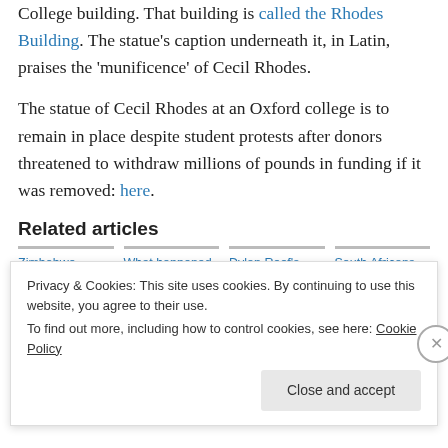College building. That building is called the Rhodes Building. The statue's caption underneath it, in Latin, praises the 'munificence' of Cecil Rhodes.
The statue of Cecil Rhodes at an Oxford college is to remain in place despite student protests after donors threatened to withdraw millions of pounds in funding if it was removed: here.
Related articles
Zimbabwe hunter who helped Cecil
What happened to Nkrumah's Anglo-
Dylan Roof's Rhodesian, South African
South Africans Topple Colonial-Era Statues In
Privacy & Cookies: This site uses cookies. By continuing to use this website, you agree to their use.
To find out more, including how to control cookies, see here: Cookie Policy